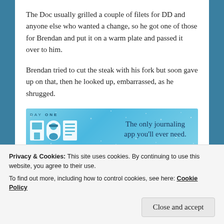The Doc usually grilled a couple of filets for DD and anyone else who wanted a change, so he got one of those for Brendan and put it on a warm plate and passed it over to him.
Brendan tried to cut the steak with his fork but soon gave up on that, then he looked up, embarrassed, as he shrugged.
[Figure (other): Advertisement banner for Day One journaling app with blue background, app icons, and tagline 'The only journaling app you'll ever need.']
And once again Didi came to his rescue, "Here, let me...
Privacy & Cookies: This site uses cookies. By continuing to use this website, you agree to their use.
To find out more, including how to control cookies, see here: Cookie Policy
Close and accept